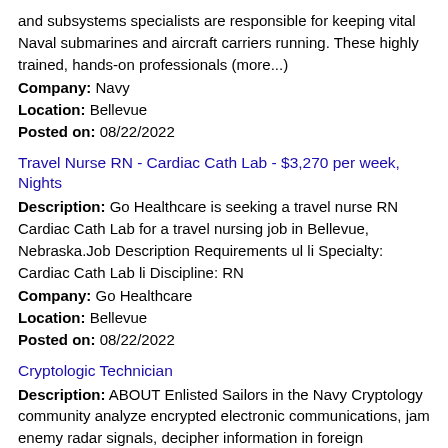and subsystems specialists are responsible for keeping vital Naval submarines and aircraft carriers running. These highly trained, hands-on professionals (more...)
Company: Navy
Location: Bellevue
Posted on: 08/22/2022
Travel Nurse RN - Cardiac Cath Lab - $3,270 per week, Nights
Description: Go Healthcare is seeking a travel nurse RN Cardiac Cath Lab for a travel nursing job in Bellevue, Nebraska.Job Description Requirements ul li Specialty: Cardiac Cath Lab li Discipline: RN
Company: Go Healthcare
Location: Bellevue
Posted on: 08/22/2022
Cryptologic Technician
Description: ABOUT Enlisted Sailors in the Navy Cryptology community analyze encrypted electronic communications, jam enemy radar signals, decipher information in foreign languages and maintain state-of-the-art equipment (more...)
Company: Navy
Location: Bellevue